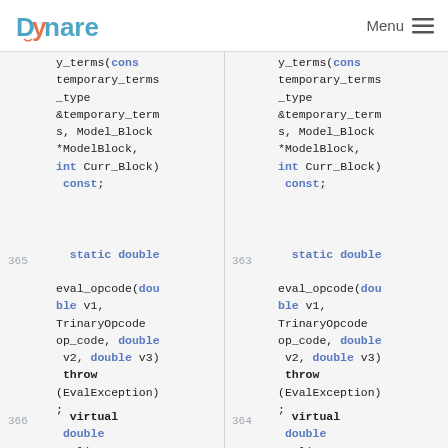Dynare  Menu
y_terms(cons temporary_terms _type &temporary_terms, Model_Block *ModelBlock, int Curr_Block) const;
365   static double

eval_opcode(double v1, TrinaryOpcode op_code, double v2, double v3) throw (EvalException);
366   virtual double
eval(const
y_terms(cons temporary_terms _type &temporary_terms, Model_Block *ModelBlock, int Curr_Block) const;
363   static double

eval_opcode(double v1, TrinaryOpcode op_code, double v2, double v3) throw (EvalException);
364   virtual double
eval(const